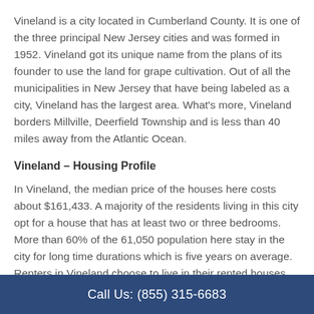Vineland is a city located in Cumberland County. It is one of the three principal New Jersey cities and was formed in 1952. Vineland got its unique name from the plans of its founder to use the land for grape cultivation. Out of all the municipalities in New Jersey that have being labeled as a city, Vineland has the largest area. What's more, Vineland borders Millville, Deerfield Township and is less than 40 miles away from the Atlantic Ocean.
Vineland – Housing Profile
In Vineland, the median price of the houses here costs about $161,433. A majority of the residents living in this city opt for a house that has at least two or three bedrooms. More than 60% of the 61,050 population here stay in the city for long time durations which is five years on average. Renters in Vineland choose to live in their rented houses and condos for...
Call Us: (855) 315-6683